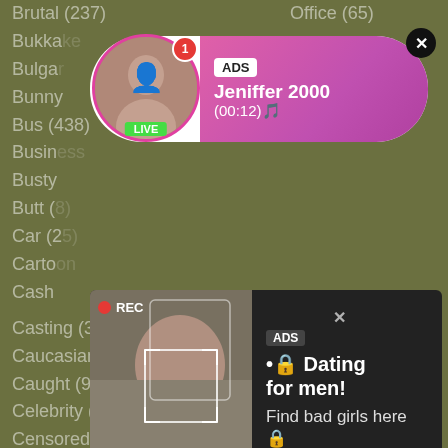Brutal (237)
Office (65)
Bukkake
Bulga
Bunny
Bus (438)
Busin
Busty
Butt (
Car (2
Carto
Cash
Casting (373)
Pantyhose (95)
Caucasian (0)
Park (44)
Caught (94)
Parody (8)
Celebrity (74)
Party (126)
Censored (118)
Peeing (22)
Changing (1)
Penis (24)
Chat (12)
Perfect (109)
[Figure (screenshot): Top ad banner with woman avatar, LIVE badge, ADS label, name Jeniffer 2000, time (00:12), pink gradient background, close X button]
[Figure (screenshot): Bottom ad banner with REC label, woman photo with face detection box, ADS Dating for men text, Find bad girls here]